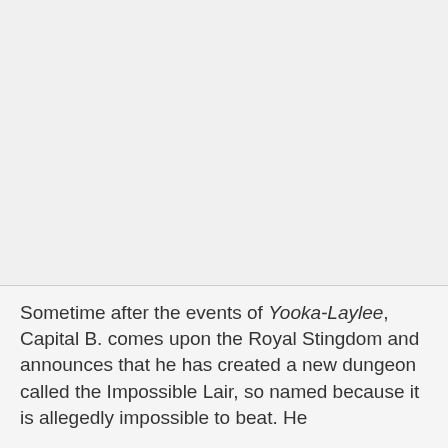[Figure (other): Large blank/empty image area taking up the upper portion of the page, light gray background.]
Sometime after the events of Yooka-Laylee, Capital B. comes upon the Royal Stingdom and announces that he has created a new dungeon called the Impossible Lair, so named because it is allegedly impossible to beat. He